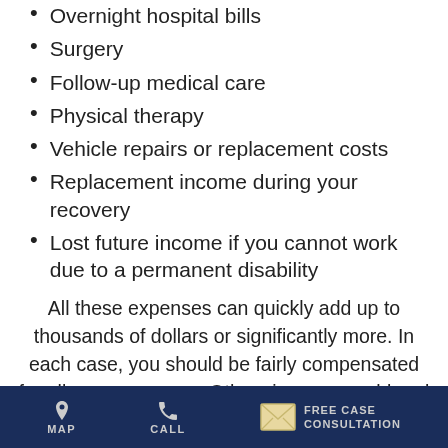Overnight hospital bills
Surgery
Follow-up medical care
Physical therapy
Vehicle repairs or replacement costs
Replacement income during your recovery
Lost future income if you cannot work due to a permanent disability
All these expenses can quickly add up to thousands of dollars or significantly more. In each case, you should be fairly compensated for all your expenses. Otherwise, you could end up having to pay these bills out of your own pocket. That's not right. You didn't do anything wrong.
You deserve to be fairly and fully compensated
MAP  CALL  FREE CASE CONSULTATION